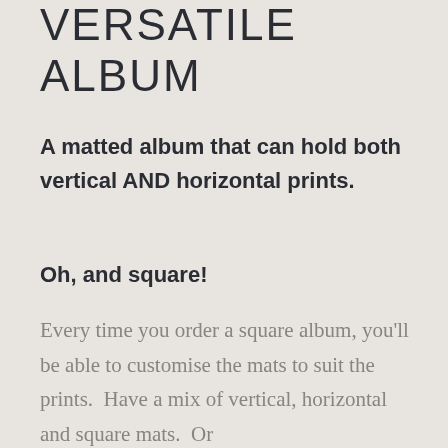VERSATILE ALBUM
A matted album that can hold both vertical AND horizontal prints.
Oh, and square!
Every time you order a square album, you'll be able to customise the mats to suit the prints.  Have a mix of vertical, horizontal and square mats.  Or